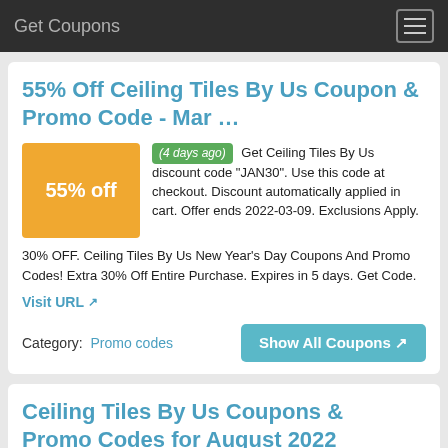Get Coupons
55% Off Ceiling Tiles By Us Coupon & Promo Code - Mar …
(4 days ago) Get Ceiling Tiles By Us discount code "JAN30". Use this code at checkout. Discount automatically applied in cart. Offer ends 2022-03-09. Exclusions Apply. 30% OFF. Ceiling Tiles By Us New Year's Day Coupons And Promo Codes! Extra 30% Off Entire Purchase. Expires in 5 days. Get Code.
Visit URL
Category:  Promo codes
Ceiling Tiles By Us Coupons & Promo Codes for August 2022